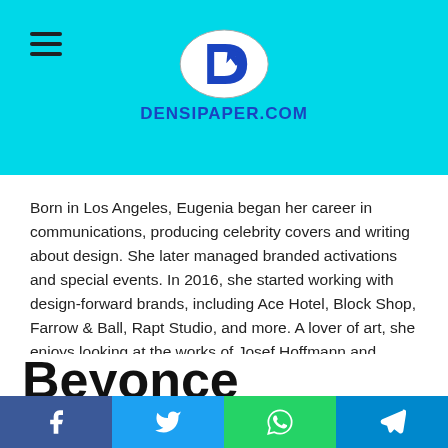[Figure (logo): Densipaper.com logo with circular blue emblem and text DENSIPAPER.COM]
Born in Los Angeles, Eugenia began her career in communications, producing celebrity covers and writing about design. She later managed branded activations and special events. In 2016, she started working with design-forward brands, including Ace Hotel, Block Shop, Farrow & Ball, Rapt Studio, and more. A lover of art, she enjoys looking at the works of Josef Hoffmann and Pedro Friedeberg, and spending time in the Porto pool of Alvaro Siza.
Beyonce Knowles